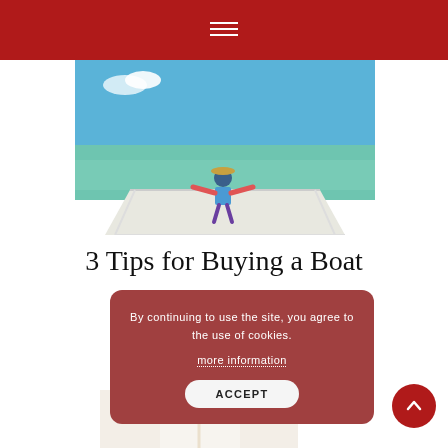[Figure (photo): Child standing on the bow of a white boat with arms outstretched, facing calm turquoise-green water under a blue sky.]
3 Tips for Buying a Boat
By continuing to use the site, you agree to the use of cookies.
more information
ACCEPT
[Figure (photo): Partial view of an interior scene with white walls and decorative elements, partially obscured.]